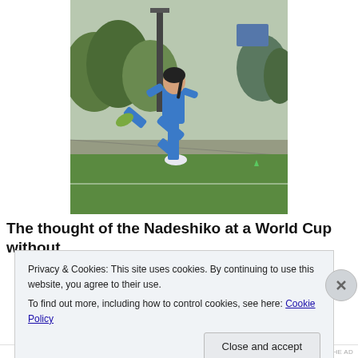[Figure (photo): A female soccer player in a blue uniform kicking on a green artificial turf field, with trees and fencing in the background.]
The thought of the Nadeshiko at a World Cup without
Privacy & Cookies: This site uses cookies. By continuing to use this website, you agree to their use.
To find out more, including how to control cookies, see here: Cookie Policy
Close and accept